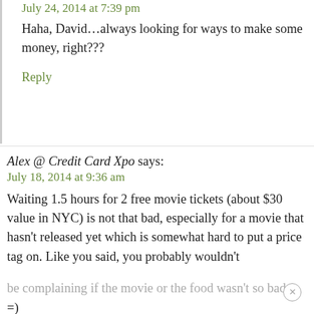July 24, 2014 at 7:39 pm
Haha, David…always looking for ways to make some money, right???
Reply
Alex @ Credit Card Xpo says:
July 18, 2014 at 9:36 am
Waiting 1.5 hours for 2 free movie tickets (about $30 value in NYC) is not that bad, especially for a movie that hasn't released yet which is somewhat hard to put a price tag on. Like you said, you probably wouldn't be complaining if the movie or the food wasn't so bad. =)